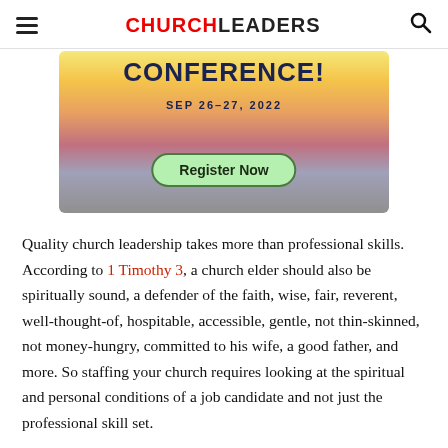CHURCHLEADERS
[Figure (illustration): Conference banner image with text 'CONFERENCE! SEP 26-27, 2022' and a 'Register Now' button, set against a sunset/mountain landscape background.]
Quality church leadership takes more than professional skills. According to 1 Timothy 3, a church elder should also be spiritually sound, a defender of the faith, wise, fair, reverent, well-thought-of, hospitable, accessible, gentle, not thin-skinned, not money-hungry, committed to his wife, a good father, and more. So staffing your church requires looking at the spiritual and personal conditions of a job candidate and not just the professional skill set.